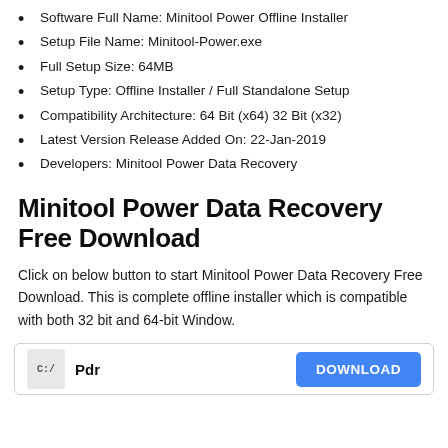Software Full Name: Minitool Power Offline Installer
Setup File Name: Minitool-Power.exe
Full Setup Size: 64MB
Setup Type: Offline Installer / Full Standalone Setup
Compatibility Architecture: 64 Bit (x64) 32 Bit (x32)
Latest Version Release Added On: 22-Jan-2019
Developers: Minitool Power Data Recovery
Minitool Power Data Recovery Free Download
Click on below button to start Minitool Power Data Recovery Free Download. This is complete offline installer which is compatible with both 32 bit and 64-bit Window.
[Figure (other): Download box with file icon labeled 'Pdr' and a blue DOWNLOAD button]